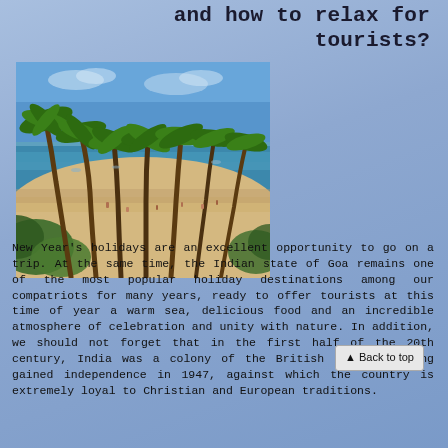and how to relax for tourists?
[Figure (photo): Tropical beach scene in Goa with tall palm trees, white sandy beach, turquoise sea, and people relaxing on the shore. Lush green vegetation in the foreground.]
New Year's holidays are an excellent opportunity to go on a trip. At the same time, the Indian state of Goa remains one of the most popular holiday destinations among our compatriots for many years, ready to offer tourists at this time of year a warm sea, delicious food and an incredible atmosphere of celebration and unity with nature. In addition, we should not forget that in the first half of the 20th century, India was a colony of the British Empire, having gained independence in 1947, against which the country is extremely loyal to Christian and European traditions.